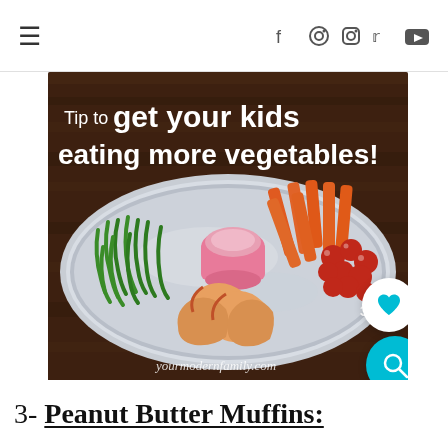☰  [social icons: facebook, pinterest, instagram, twitter, youtube]
[Figure (photo): A silver oval platter on a wooden table with green bell pepper strips, carrot sticks, cherry tomatoes, apple slices, and a pink cup of dipping sauce. Text overlay reads: 'Tip to get your kids eating more vegetables!' with watermark 'yourmodernfamily.com']
3- Peanut Butter Muffins: